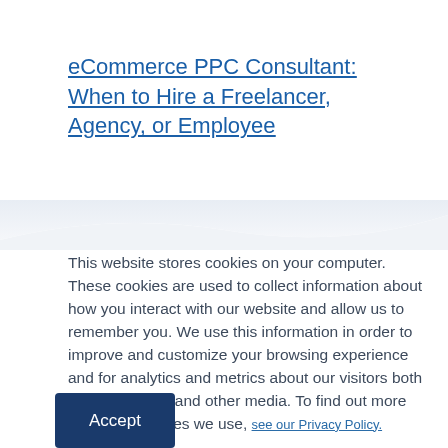eCommerce PPC Consultant: When to Hire a Freelancer, Agency, or Employee
[Figure (illustration): Decorative wave divider separating the top white area from the bottom white content area, with a light gray/blue curved wave shape]
This website stores cookies on your computer. These cookies are used to collect information about how you interact with our website and allow us to remember you. We use this information in order to improve and customize your browsing experience and for analytics and metrics about our visitors both on this website and other media. To find out more about the cookies we use, see our Privacy Policy.
Accept